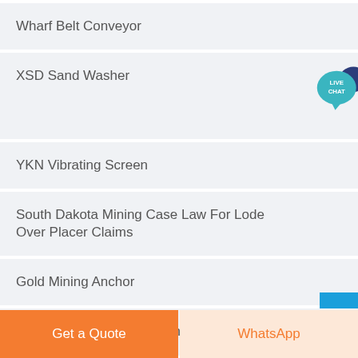Wharf Belt Conveyor
XSD Sand Washer
YKN Vibrating Screen
South Dakota Mining Case Law For Lode Over Placer Claims
Gold Mining Anchor
Limestone Mine Acquisition Uae
Get a Quote
WhatsApp